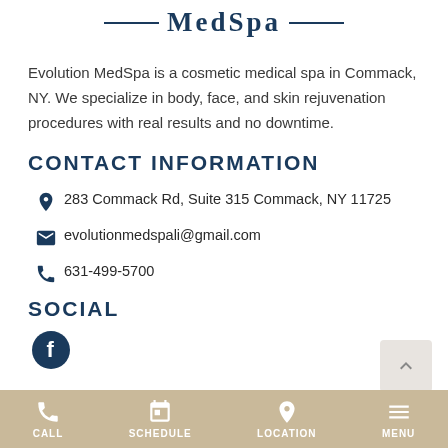MedSpa
Evolution MedSpa is a cosmetic medical spa in Commack, NY. We specialize in body, face, and skin rejuvenation procedures with real results and no downtime.
CONTACT INFORMATION
283 Commack Rd, Suite 315 Commack, NY 11725
evolutionmedspali@gmail.com
631-499-5700
SOCIAL
[Figure (logo): Facebook icon (circle with 'f')]
CALL   SCHEDULE   LOCATION   MENU